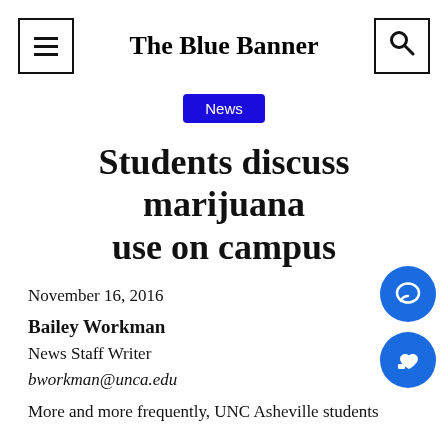The Blue Banner
News
Students discuss marijuana use on campus
November 16, 2016
Bailey Workman
News Staff Writer
bworkman@unca.edu
More and more frequently, UNC Asheville students